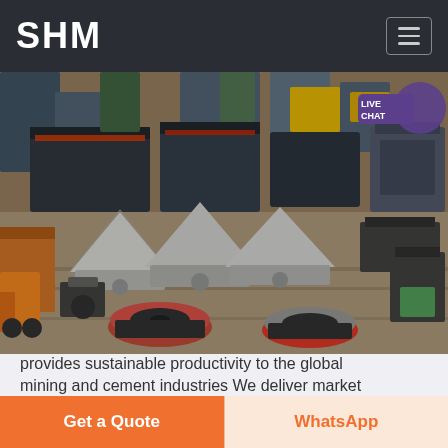SHM
[Figure (photo): Aerial/overhead view of industrial mining and cement machinery equipment yard with multiple heavy machines, crushers, and industrial equipment on a factory floor.]
provides sustainable productivity to the global mining and cement industries We deliver market
Get a Quote
WhatsApp